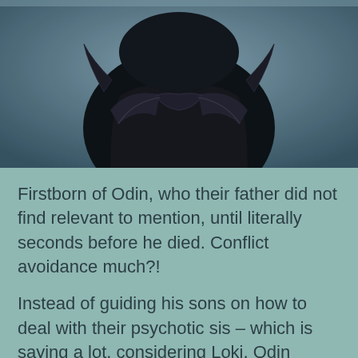[Figure (photo): Close-up photo of a dark armored figure wearing a horned helmet, viewed from behind/above, with a blurred green/blue background. Likely Hela from Marvel's Thor: Ragnarok.]
Firstborn of Odin, who their father did not find relevant to mention, until literally seconds before he died. Conflict avoidance much?!
Instead of guiding his sons on how to deal with their psychotic sis – which is saying a lot, considering Loki, Odin decides to check out and hightail it to the afterlife. Thor and Loki are then left to deal with the repercussions of their